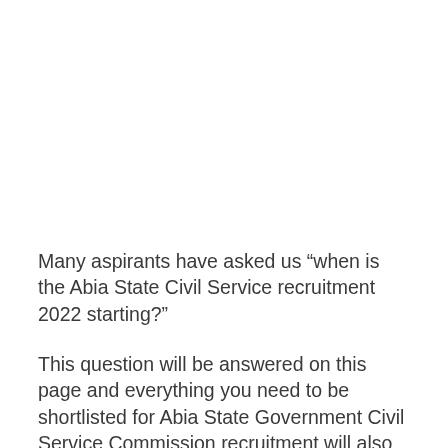Many aspirants have asked us “when is the Abia State Civil Service recruitment 2022 starting?”
This question will be answered on this page and everything you need to be shortlisted for Abia State Government Civil Service Commission recruitment will also be clearly